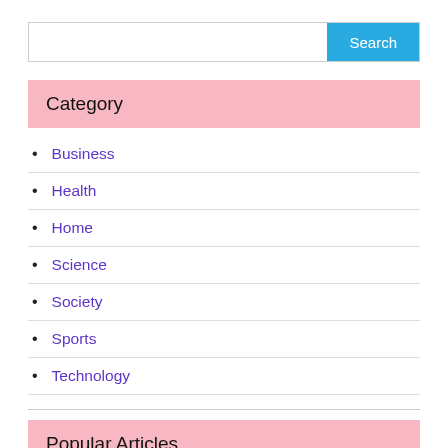Search
Category
Business
Health
Home
Science
Society
Sports
Technology
Popular Articles